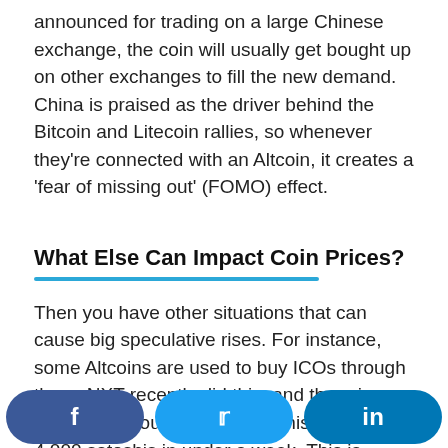announced for trading on a large Chinese exchange, the coin will usually get bought up on other exchanges to fill the new demand. China is praised as the driver behind the Bitcoin and Litecoin rallies, so whenever they're connected with an Altcoin, it creates a 'fear of missing out' (FOMO) effect.
What Else Can Impact Coin Prices?
Then you have other situations that can cause big speculative rises. For instance, some Altcoins are used to buy ICOs through them. NXT recently did this, and the price went from around 1,200 satoshis to over 4,000 satoshis in under a week. This is